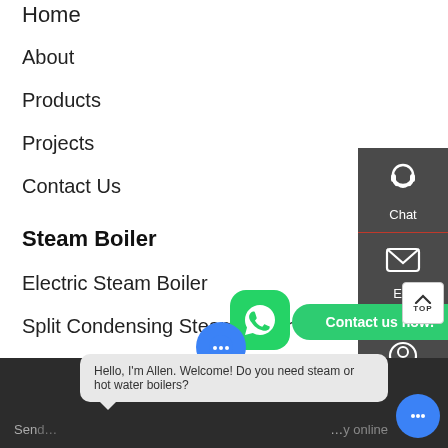Home
About
Products
Projects
Contact Us
Steam Boiler
Electric Steam Boiler
Split Condensing Steam Boiler
Water Tube Steam Boiler
Wacuum Water Boiler T7
[Figure (screenshot): Website navigation sidebar with Chat, Email, and Contact icons on dark grey background]
[Figure (screenshot): WhatsApp green bubble icon and Contact us now green button]
Hello, I'm Allen. Welcome! Do you need steam or hot water boilers?
Send... Reply online